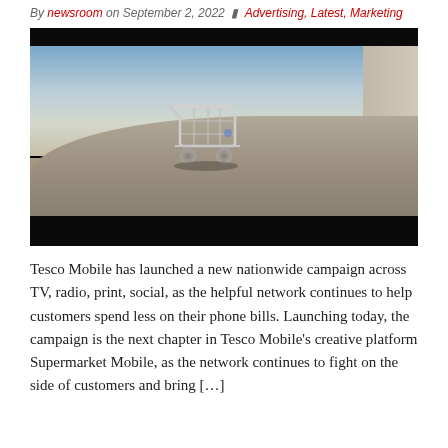By newsroom on September 2, 2022  Advertising, Latest, Marketing
[Figure (photo): A lone shopping cart on an elevated curved concrete ramp or parking structure, with a cityscape and sky in the background. The image has black bars at top and bottom, giving a cinematic look.]
Tesco Mobile has launched a new nationwide campaign across TV, radio, print, social, as the helpful network continues to help customers spend less on their phone bills. Launching today, the campaign is the next chapter in Tesco Mobile’s creative platform Supermarket Mobile, as the network continues to fight on the side of customers and bring […]